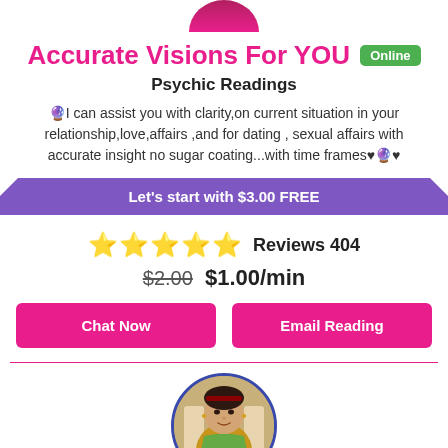[Figure (photo): Top portion of a circular profile photo showing red/magenta color at top]
Accurate Visions For YOU   Online
Psychic Readings
🔮I can assist you with clarity,on current situation in your relationship,love,affairs ,and for dating , sexual affairs with accurate insight no sugar coating...with time frames♥🔮♥
Let's start with $3.00 FREE
⭐⭐⭐⭐⭐  Reviews 404
$2.00 $1.00/min
Chat Now
Email Reading
[Figure (photo): Circular profile photo of a woman in traditional South Asian attire, bordered with dark blue/indigo circle]